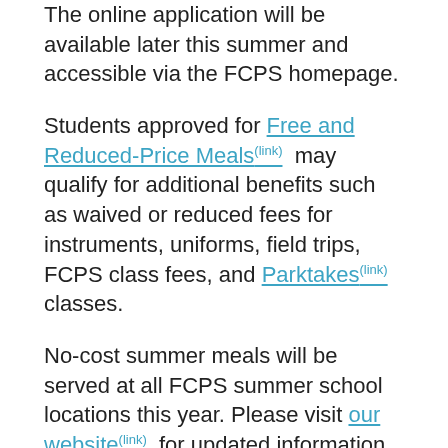The online application will be available later this summer and accessible via the FCPS homepage.
Students approved for Free and Reduced-Price Meals(link) may qualify for additional benefits such as waived or reduced fees for instruments, uniforms, field trips, FCPS class fees, and Parktakes(link) classes.
No-cost summer meals will be served at all FCPS summer school locations this year. Please visit our website(link) for updated information during the summer.
McLean Community Center Presents…
1753 Kirby Road, McLean, VA 22101(link) | Main